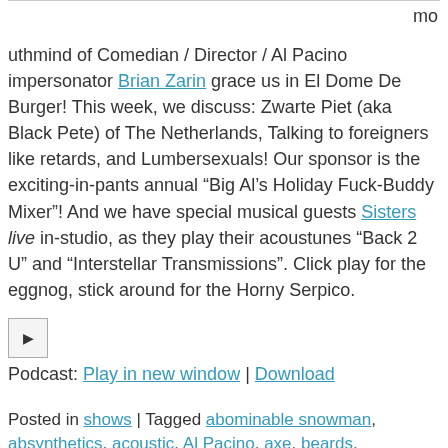mo uthmind of Comedian / Director / Al Pacino impersonator Brian Zarin grace us in El Dome De Burger!  This week, we discuss: Zwarte Piet (aka Black Pete) of The Netherlands,  Talking to foreigners like retards,  and Lumbersexuals!  Our sponsor is the exciting-in-pants annual “Big Al’s Holiday Fuck-Buddy Mixer”!  And we have special musical guests Sisters live in-studio, as they play their acoustunes “Back 2 U” and “Interstellar Transmissions”.  Click play for the eggnog, stick around for the Horny Serpico.
[Figure (other): Audio play button icon - small square button with a right-pointing triangle/play symbol]
Podcast: Play in new window | Download
Posted in shows | Tagged abominable snowman, absynthetics, acoustic, Al Pacino, axe, beards,